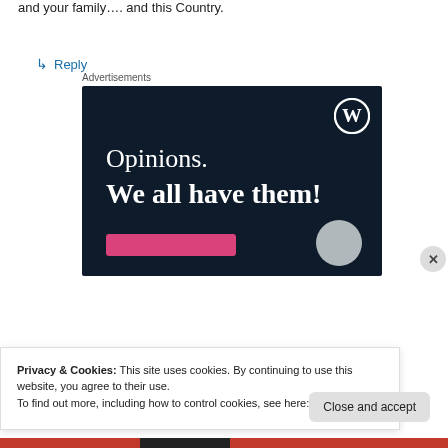and your family…. and this Country.
↳ Reply
Advertisements
[Figure (illustration): WordPress advertisement banner with dark navy background, WordPress logo (W in circle) top right, text 'Opinions. We all have them!' in white serif font, pink button at bottom left, grey circle at bottom right.]
Privacy & Cookies: This site uses cookies. By continuing to use this website, you agree to their use.
To find out more, including how to control cookies, see here: Cookie Policy
Close and accept